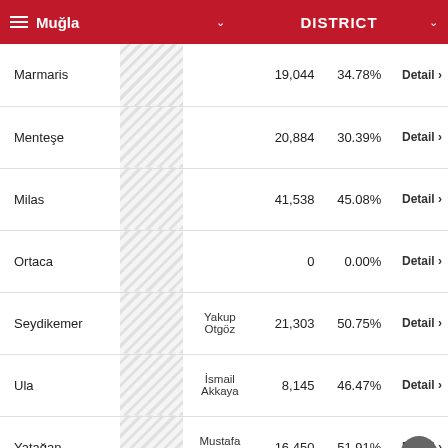Muğla | DISTRICT
| District |  | Winner | Votes | % |  |
| --- | --- | --- | --- | --- | --- |
| Marmaris |  |  | 19,044 | 34.78% | Detail > |
| Menteşe |  |  | 20,884 | 30.39% | Detail > |
| Milas |  |  | 41,538 | 45.08% | Detail > |
| Ortaca |  |  | 0 | 0.00% | Detail > |
| Seydikemer |  | Yakup Otgöz | 21,303 | 50.75% | Detail > |
| Ula |  | İsmail Akkaya | 8,145 | 46.47% | Detail > |
| Yatağan |  | Mustafa Toksöz | 16,450 | 51.91% | Detail > |
60
Source: Anadolu Agency